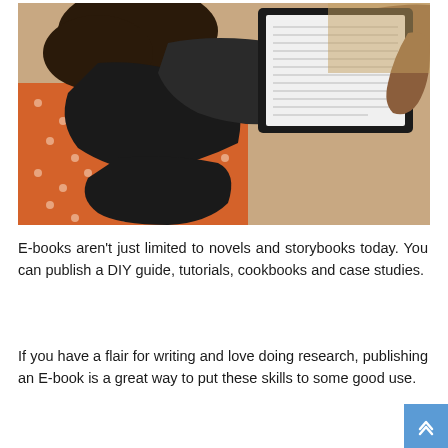[Figure (photo): Overhead view of a person with curly hair lying down, holding a tablet/e-reader open with both hands, wearing a black outfit. They are lying on an orange/red polka-dot fabric background.]
E-books aren't just limited to novels and storybooks today. You can publish a DIY guide, tutorials, cookbooks and case studies.
If you have a flair for writing and love doing research, publishing an E-book is a great way to put these skills to some good use.